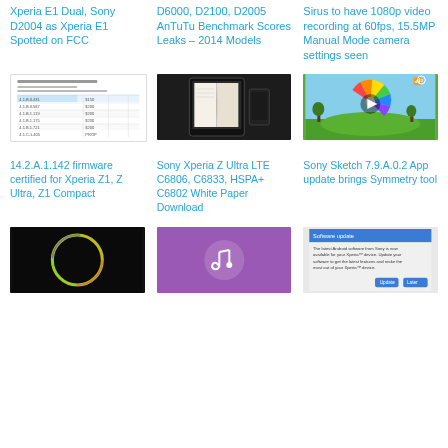Xperia E1 Dual, Sony D2004 as Xperia E1 Spotted on FCC
D6000, D2100, D2005 AnTuTu Benchmark Scores Leaks – 2014 Models
Sirus to have 1080p video recording at 60fps, 15.5MP Manual Mode camera settings seen
[Figure (screenshot): Screenshot of FCC firmware listing table for Sony devices]
[Figure (photo): Sony Xperia Z Ultra LTE device photo showing tablet and smartphone]
[Figure (screenshot): Sony Sketch app screenshot showing color wheel and symmetry tool with play button]
14.2.A.1.142 firmware certified for Xperia Z1, Z Ultra, Z1 Compact
Sony Xperia Z Ultra LTE C6806, C6833, HSPA+ C6802 White Paper Download
Sony Sketch 7.9.A.0.2 App update brings Symmetry tool
[Figure (photo): Circular neon ring light on black background]
[Figure (photo): Person holding phone with music app, purple background]
[Figure (screenshot): Android software update notification screenshot from Sony]